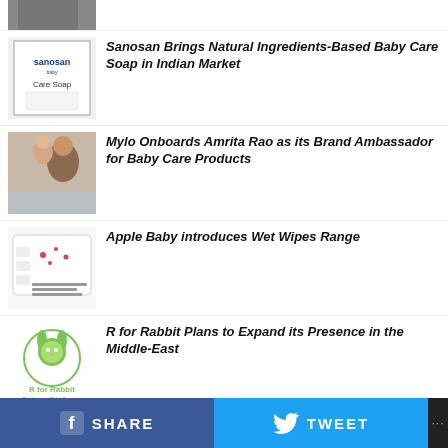[Figure (photo): Partial photo at top, cropped]
[Figure (photo): Sanosan Care Soap product packaging]
Sanosan Brings Natural Ingredients-Based Baby Care Soap in Indian Market
[Figure (photo): Mother holding baby]
Mylo Onboards Amrita Rao as its Brand Ambassador for Baby Care Products
[Figure (photo): Apple Baby Wet Wipes packaging]
Apple Baby introduces Wet Wipes Range
[Figure (logo): R for Rabbit logo - rabbit illustration with brand name]
R for Rabbit Plans to Expand its Presence in the Middle-East
SHARE   TWEET   ...